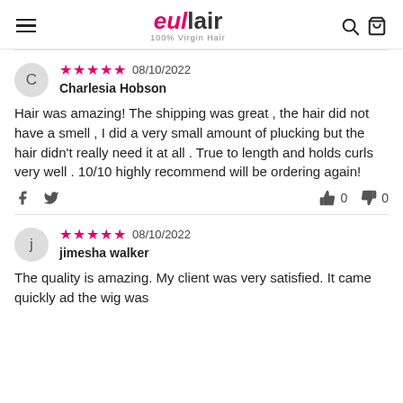eullair 100% Virgin Hair
★★★★★ 08/10/2022
Charlesia Hobson
Hair was amazing! The shipping was great , the hair did not have a smell , I did a very small amount of plucking but the hair didn't really need it at all . True to length and holds curls very well . 10/10 highly recommend will be ordering again!
★★★★★ 08/10/2022
jimesha walker
The quality is amazing. My client was very satisfied. It came quickly ad the wig was